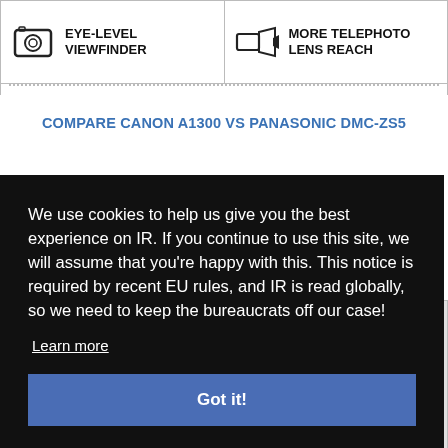[Figure (infographic): Two comparison cells: left shows eye-level viewfinder icon with text 'EYE-LEVEL VIEWFINDER', right shows telephoto icon with text 'MORE TELEPHOTO LENS REACH']
COMPARE CANON A1300 vs PANASONIC DMC-ZS5
We use cookies to help us give you the best experience on IR. If you continue to use this site, we will assume that you're happy with this. This notice is required by recent EU rules, and IR is read globally, so we need to keep the bureaucrats off our case!
Learn more
Got it!
[Figure (photo): Photo of a silver camera product (Panasonic DMC-ZS5)]
[Figure (infographic): Bottom bar with two cells: left has arrow icon, right has video icon with text 'SHOOTS RAW']